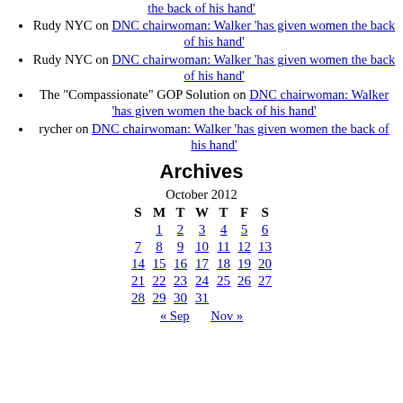Rudy NYC on DNC chairwoman: Walker 'has given women the back of his hand'
Rudy NYC on DNC chairwoman: Walker 'has given women the back of his hand'
The "Compassionate" GOP Solution on DNC chairwoman: Walker 'has given women the back of his hand'
rycher on DNC chairwoman: Walker 'has given women the back of his hand'
Archives
| S | M | T | W | T | F | S |
| --- | --- | --- | --- | --- | --- | --- |
|  | 1 | 2 | 3 | 4 | 5 | 6 |
| 7 | 8 | 9 | 10 | 11 | 12 | 13 |
| 14 | 15 | 16 | 17 | 18 | 19 | 20 |
| 21 | 22 | 23 | 24 | 25 | 26 | 27 |
| 28 | 29 | 30 | 31 |  |  |  |
« Sep   Nov »